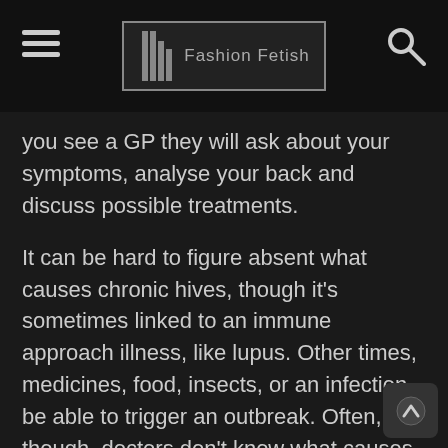Fashion Fetish
you see a GP they will ask about your symptoms, analyse your back and discuss possible treatments.
It can be hard to figure absent what causes chronic hives, though it's sometimes linked to an immune approach illness, like lupus. Other times, medicines, food, insects, or an infection be able to trigger an outbreak. Often, though, doctors don't know what causes chronic inflammation. The hallmark red raised welts are the main sign of hives.
Be grateful you. Good to be back. Anyhow, thank you all. Madam Speaker, Madam Vice President — applause — denial President has ever said those words from this podium. Throughout our account, Presidents have come to this assembly room to speak to Congress, to the nation, and